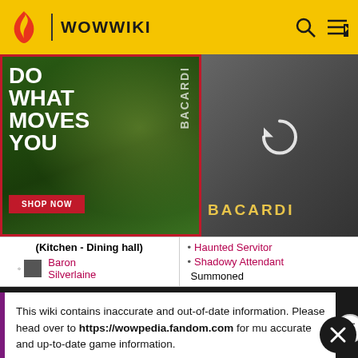WOWWIKI
[Figure (screenshot): Bacardi advertisement - Do What Moves You with fruits background, Shop Now button, red border. Left half shows tropical fruit scene with text, right half shows blurred Bacardi bottle with reload icon.]
| (Kitchen - Dining hall) |  |
| --- | --- |
| Baron Silverlaine | Haunted Servitor
Shadowy Attendant
Summoned |
This wiki contains inaccurate and out-of-date information. Please head over to https://wowpedia.fandom.com for more accurate and up-to-date game information.
[Figure (screenshot): Bacardi advertisement - Do What Moves You with bottle and fruits, Shop Now button]
Shadowfang Keep (up
Fetid Ghoul